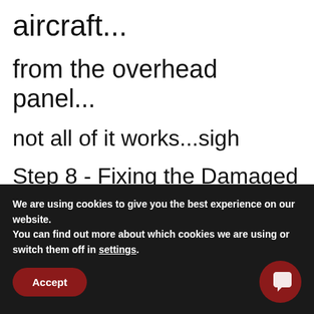aircraft...
from the overhead panel...
not all of it works...sigh
Step 8 - Fixing the Damaged Aircraft Logic
So this is where we separate the men from the boys (or women from the girls as the case may be)... what is working with the logic. The proSystems software is kinda cool in the
We are using cookies to give you the best experience on our website.
You can find out more about which cookies we are using or switch them off in settings.
Accept